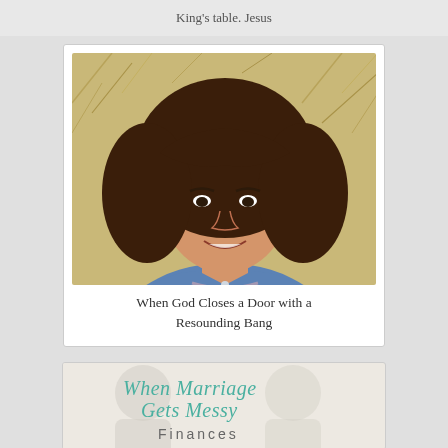King's table. Jesus
[Figure (photo): Portrait photo of a woman with curly dark hair wearing a denim jacket, smiling, with dried grass/brush in the background]
When God Closes a Door with a Resounding Bang
[Figure (illustration): Graphic image with script text 'When Marriage Gets Messy' in teal cursive and 'Finances' in sans-serif, with faded background photo of a couple]